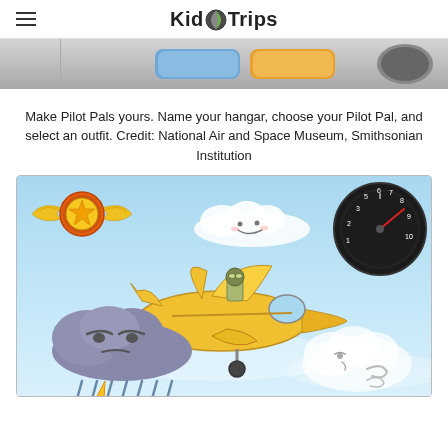KidSTrips
[Figure (screenshot): Top portion of a tablet app screenshot showing interface elements with a gray toolbar with blue and orange buttons visible at top, and a dark gray shape on the right side.]
Make Pilot Pals yours. Name your hangar, choose your Pilot Pal, and select an outfit. Credit: National Air and Space Museum, Smithsonian Institution
[Figure (screenshot): Game screenshot of Pilot Pals app showing a light blue sky background with: a yellow cartoon airplane with a small pilot character on top in the center-left area, a winged star badge/logo in the top-left corner, a speedometer gauge in the top-right corner, a smiling white cloud in the upper-center area, a dark storm cloud with lightning bolt in the lower-left, and a white puffy cloud blowing wind in the lower-right corner.]